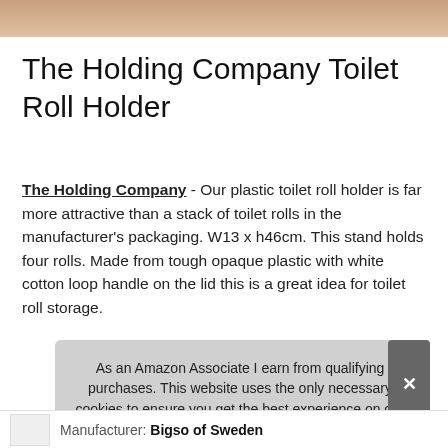[Figure (photo): Partial image of a person or product at the top of the page, cropped]
The Holding Company Toilet Roll Holder
The Holding Company - Our plastic toilet roll holder is far more attractive than a stack of toilet rolls in the manufacturer's packaging. W13 x h46cm. This stand holds four rolls. Made from tough opaque plastic with white cotton loop handle on the lid this is a great idea for toilet roll storage.
As an Amazon Associate I earn from qualifying purchases. This website uses the only necessary cookies to ensure you get the best experience on our website. More information
Manufacturer: Bigso of Sweden